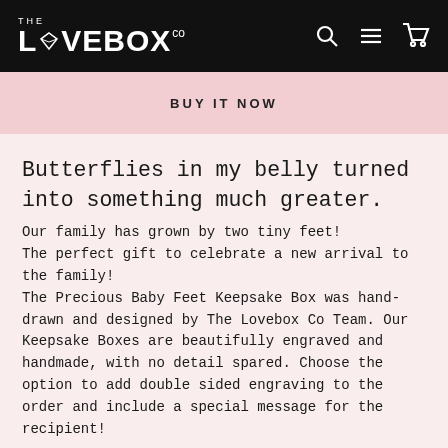THE LOVEBOX CO
BUY IT NOW
Butterflies in my belly turned into something much greater.
Our family has grown by two tiny feet! The perfect gift to celebrate a new arrival to the family! The Precious Baby Feet Keepsake Box was hand-drawn and designed by The Lovebox Co Team. Our Keepsake Boxes are beautifully engraved and handmade, with no detail spared. Choose the option to add double sided engraving to the order and include a special message for the recipient!